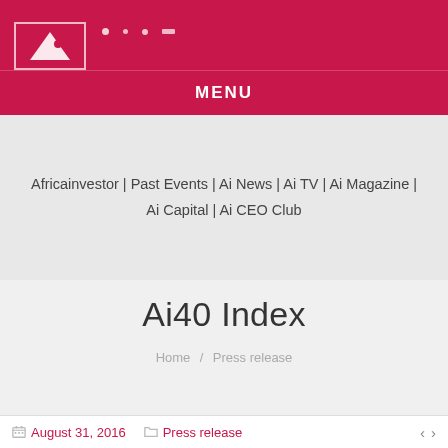[Figure (logo): Africainvestor logo with white triangle and dot on dark pink/crimson background, with navigation dots]
MENU
Africainvestor | Past Events | Ai News | Ai TV | Ai Magazine | Ai Capital | Ai CEO Club
Ai40 Index
Home / Press release
August 31, 2016   Press release